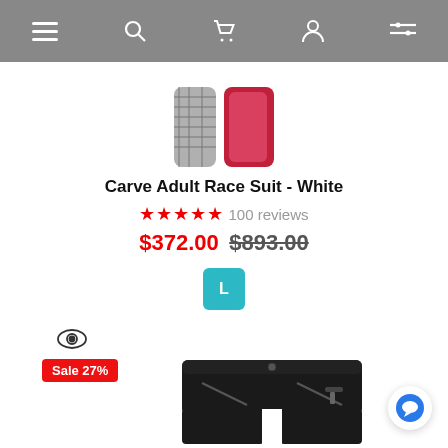Navigation bar with menu, search, cart, profile, and filter icons
[Figure (photo): Partial product image of a Carve Adult Race Suit in white — showing lower legs and feet area with black/grey patterned fabric and pink interior]
Carve Adult Race Suit - White
★★★★★ 100 reviews
$372.00  $893.00
L (size button)
[Figure (photo): Eye/recently-viewed icon]
Sale 27%
[Figure (photo): Black shorts with zippered pockets and grey accent details — product listing image]